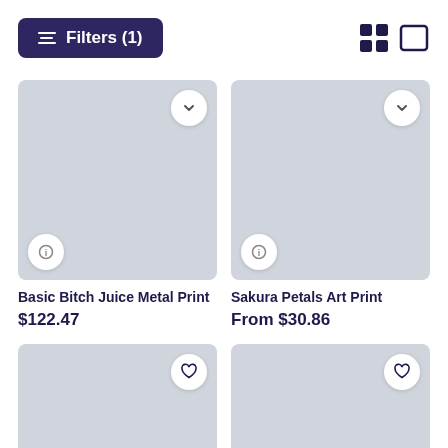Filters (1)
[Figure (screenshot): Product image placeholder for Basic Bitch Juice Metal Print, light gray rectangle]
Basic Bitch Juice Metal Print
$122.47
[Figure (screenshot): Product image placeholder for Sakura Petals Art Print, light gray rectangle]
Sakura Petals Art Print
From $30.86
[Figure (screenshot): Third product image placeholder, light gray rectangle with heart icon]
[Figure (screenshot): Fourth product image placeholder, light gray rectangle with heart icon]